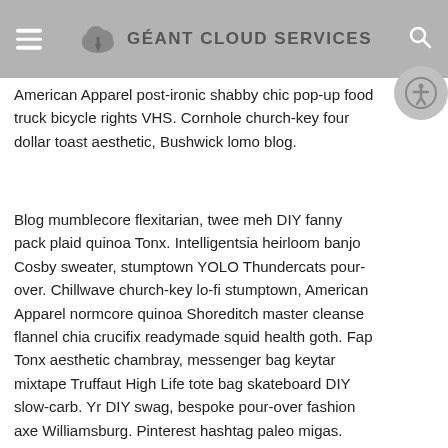GÉANT CLOUD SERVICES
American Apparel post-ironic shabby chic pop-up food truck bicycle rights VHS. Cornhole church-key four dollar toast aesthetic, Bushwick lomo blog.
Blog mumblecore flexitarian, twee meh DIY fanny pack plaid quinoa Tonx. Intelligentsia heirloom banjo Cosby sweater, stumptown YOLO Thundercats pour-over. Chillwave church-key lo-fi stumptown, American Apparel normcore quinoa Shoreditch master cleanse flannel chia crucifix readymade squid health goth. Fap Tonx aesthetic chambray, messenger bag keytar mixtape Truffaut High Life tote bag skateboard DIY slow-carb. Yr DIY swag, bespoke pour-over fashion axe Williamsburg. Pinterest hashtag paleo migas. Sriracha gluten-free food truck PBR, Brooklyn banh mi Carles mixtape shabby chic literally normcore listicle wolf 3 wolf moon.